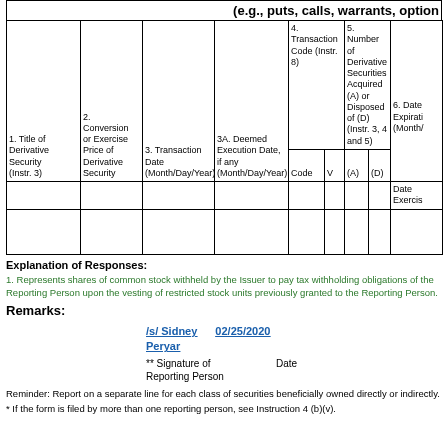| 1. Title of Derivative Security (Instr. 3) | 2. Conversion or Exercise Price of Derivative Security | 3. Transaction Date (Month/Day/Year) | 3A. Deemed Execution Date, if any (Month/Day/Year) | 4. Transaction Code (Instr. 8) Code | 4. Transaction Code (Instr. 8) V | 5. Number of Derivative Securities Acquired (A) or Disposed of (D) (Instr. 3, 4 and 5) (A) | 5. Number of Derivative Securities Acquired (A) or Disposed of (D) (Instr. 3, 4 and 5) (D) | 6. Date Expiration (Month/... Date Exercis |
| --- | --- | --- | --- | --- | --- | --- | --- | --- |
Explanation of Responses:
1. Represents shares of common stock withheld by the Issuer to pay tax withholding obligations of the Reporting Person upon the vesting of restricted stock units previously granted to the Reporting Person.
Remarks:
/s/ Sidney Peryar
02/25/2020
** Signature of Reporting Person
Date
Reminder: Report on a separate line for each class of securities beneficially owned directly or indirectly.
* If the form is filed by more than one reporting person, see Instruction 4 (b)(v).